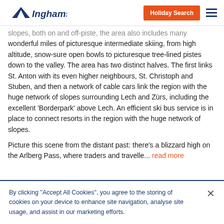Inghams — Holiday Search
slopes, both on and off-piste, the area also includes many wonderful miles of picturesque intermediate skiing, from high altitude, snow-sure open bowls to picturesque tree-lined pistes down to the valley. The area has two distinct halves. The first links St. Anton with its even higher neighbours, St. Christoph and Stuben, and then a network of cable cars link the region with the huge network of slopes surrounding Lech and Zürs, including the excellent 'Borderpark' above Lech. An efficient ski bus service is in place to connect resorts in the region with the huge network of slopes.
Picture this scene from the distant past: there's a blizzard high on the Arlberg Pass, where traders and travelle... read more
By clicking "Accept All Cookies", you agree to the storing of cookies on your device to enhance site navigation, analyse site usage, and assist in our marketing efforts.